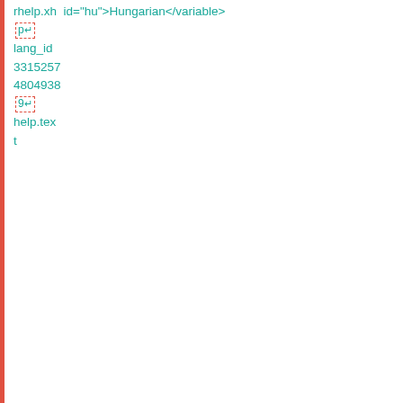rhelp.xh  id="hu">Hungarian</variable>
p↵
lang_id
3315257
4804938
9↵
help.text
browse  <variable
rhelp.xh  id="id">Indonesian</variable>
p↵
lang_id
2215257
4808484
3↵
help.text
browse  <variable